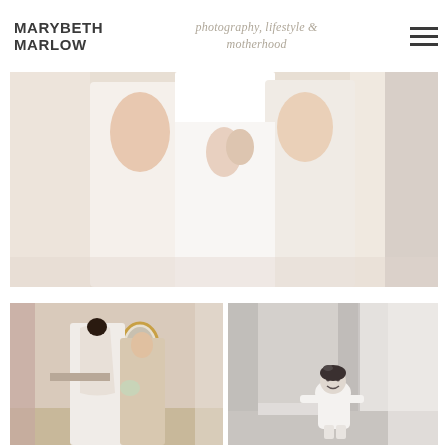MARYBETH MARLOW — photography, lifestyle & motherhood
[Figure (photo): Close-up of bride and bridesmaids in white dresses, back view, hands touching gown buttons, warm indoor light]
[Figure (photo): Bride in white gown with open back facing another woman in a beaded dress, ornate gold mirror on wall behind them, color photo]
[Figure (photo): Small toddler girl in white dress laughing and walking toward camera near curtained window, black and white photo]